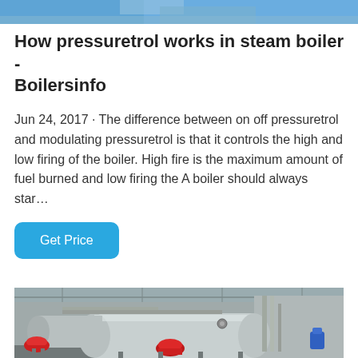[Figure (photo): Partial photo visible at top of page, appears to be a blue/sky industrial scene]
How pressuretrol works in steam boiler - Boilersinfo
Jun 24, 2017 · The difference between on off pressuretrol and modulating pressuretrol is that it controls the high and low firing of the boiler. High fire is the maximum amount of fuel burned and low firing the A boiler should always star…
[Figure (other): Button labeled Get Price with blue rounded rectangle background]
[Figure (photo): Photo of industrial steam boilers in a factory/warehouse setting, showing cylindrical boiler vessels with red burners, pipes and equipment]